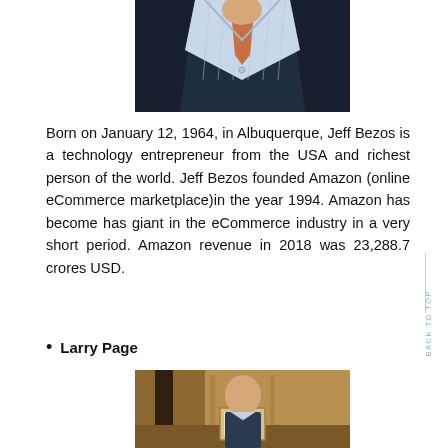[Figure (photo): Partial photo of a man in a dark suit and light blue striped shirt, cropped at chest level]
Born on January 12, 1964, in Albuquerque, Jeff Bezos is a technology entrepreneur from the USA and richest person of the world. Jeff Bezos founded Amazon (online eCommerce marketplace)in the year 1994. Amazon has become has giant in the eCommerce industry in a very short period. Amazon revenue in 2018 was 23,288.7 crores USD.
Larry Page
[Figure (photo): Partial photo of Larry Page, showing head and upper body, seated at what appears to be a desk]